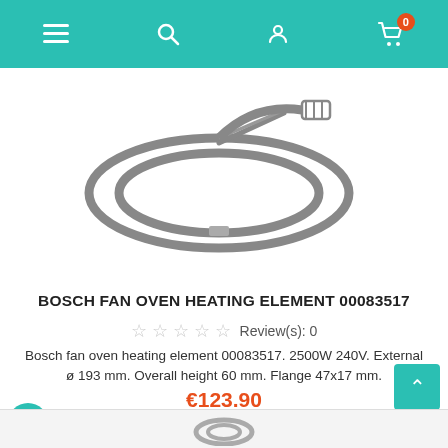[Figure (photo): Circular fan oven heating element made of metal tubing, model 00083517, shown on white background]
BOSCH FAN OVEN HEATING ELEMENT 00083517
☆☆☆☆☆ Review(s): 0
Bosch fan oven heating element 00083517. 2500W 240V. External ø 193 mm. Overall height 60 mm. Flange 47x17 mm.
€123.90
Add to cart
Backorder 6–8 working days